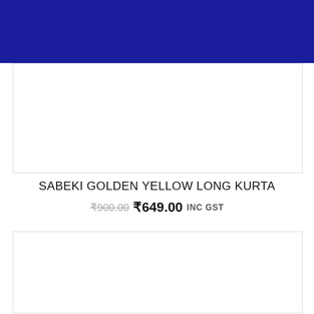[Figure (photo): Dark navy/blue header banner at top of page]
[Figure (photo): Product image placeholder - white box with border, top product image area]
SABEKI GOLDEN YELLOW LONG KURTA
₹900.00  ₹649.00  INC GST
[Figure (photo): Product image placeholder - white box with border, bottom product image area]